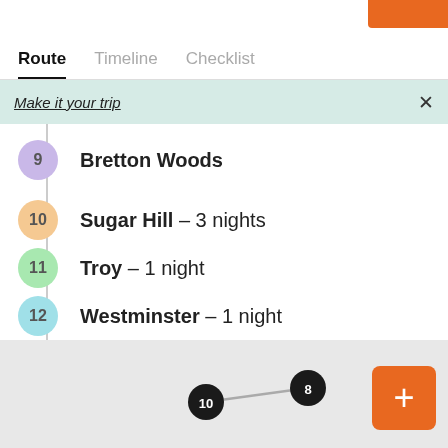Route | Timeline | Checklist
Make it your trip
9  Bretton Woods
10  Sugar Hill – 3 nights
11  Troy – 1 night
12  Westminster – 1 night
End: Cary
[Figure (map): Map showing route with pins labeled 10 and 8 connected by a line]